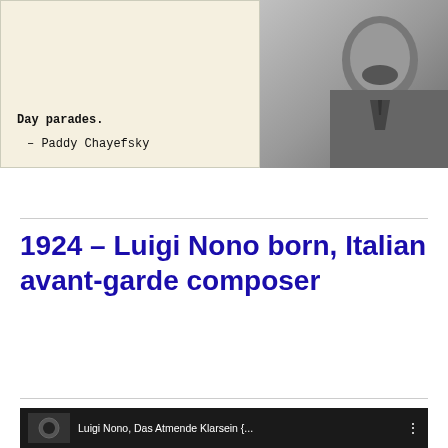[Figure (photo): Black and white photo of Paddy Chayefsky alongside a quote block on beige background reading 'Day parades.' with attribution '– Paddy Chayefsky']
Day parades.

– Paddy Chayefsky
1924 – Luigi Nono born, Italian avant-garde composer
[Figure (screenshot): Embedded YouTube video thumbnail for Luigi Nono, Das Atmende Klarsein { ... } with black and white abstract ink brush art and YouTube play button]